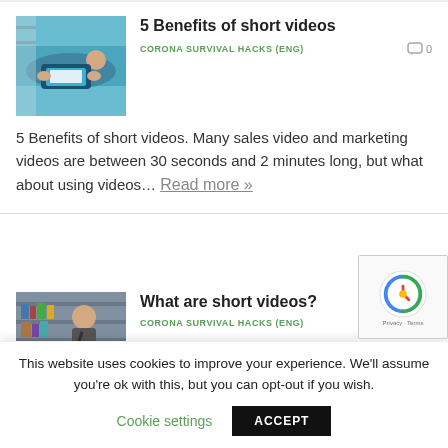[Figure (photo): Person lying down watching a video on a smartphone, wearing jeans, teal background]
5 Benefits of short videos
CORONA SURVIVAL HACKS (ENG)
0
5 Benefits of short videos. Many sales video and marketing videos are between 30 seconds and 2 minutes long, but what about using videos… Read more »
[Figure (photo): Man with a bag in front of bookshelves]
What are short videos?
CORONA SURVIVAL HACKS (ENG)
This website uses cookies to improve your experience. We'll assume you're ok with this, but you can opt-out if you wish.
Cookie settings
ACCEPT